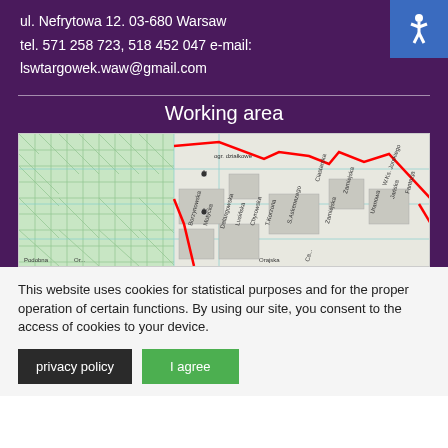ul. Nefrytowa 12. 03-680 Warsaw
tel. 571 258 723, 518 452 047 e-mail:
lswtargowek.waw@gmail.com
Working area
[Figure (map): Street map of Warsaw district showing working area boundary marked with red lines. Streets visible include Borzynowska, Motycka, Dalangowska, Lusinska, Chyrowska, Korzona, S. Askenazego, Zamiejska, Uranowa, and others. Map has green cross-hatched area on left and teal grid lines.]
This website uses cookies for statistical purposes and for the proper operation of certain functions. By using our site, you consent to the access of cookies to your device.
privacy policy
I agree